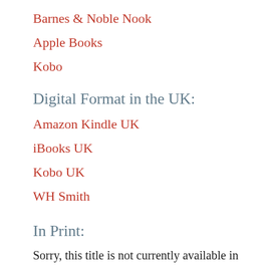Barnes & Noble Nook
Apple Books
Kobo
Digital Format in the UK:
Amazon Kindle UK
iBooks UK
Kobo UK
WH Smith
In Print:
Sorry, this title is not currently available in